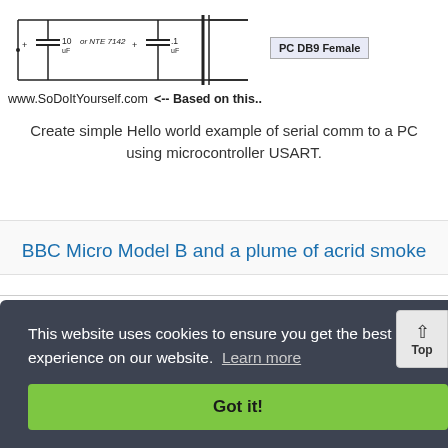[Figure (schematic): Circuit diagram showing capacitors (10uF, or NTE 7142, .1uF) and a PC DB9 Female connector, with label www.SoDoItYourself.com <-- Based on this..]
Create simple Hello world example of serial comm to a PC using microcontroller USART.
BBC Micro Model B and a plume of acrid smoke
This website uses cookies to ensure you get the best experience on our website. Learn more
Got it!
plugged it in and powered up. The familiar two-tone boot sound